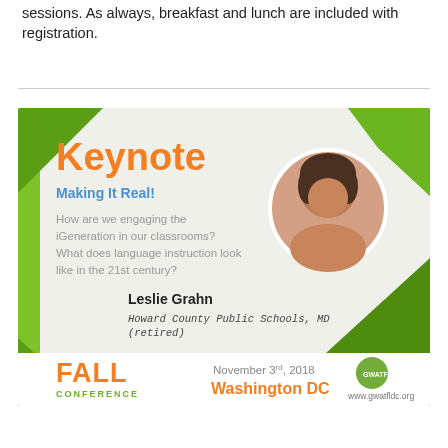sessions. As always, breakfast and lunch are included with registration.
[Figure (infographic): GWATFL Fall Conference keynote announcement card. Features 'Keynote' in orange, subtitle 'Making It Real!' in blue, description text about iGeneration, speaker Leslie Grahn from Howard County Public Schools MD (retired), conference date November 3rd 2018, Washington DC, with green geometric background design and circular photo of speaker.]